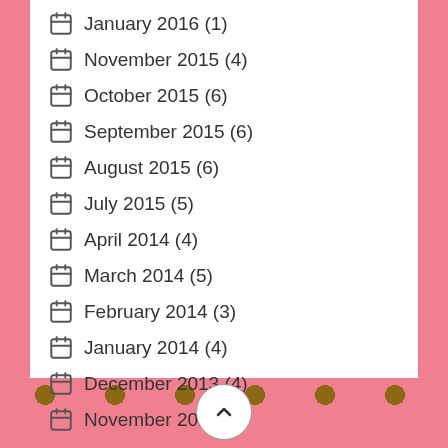January 2016 (1)
November 2015 (4)
October 2015 (6)
September 2015 (6)
August 2015 (6)
July 2015 (5)
April 2014 (4)
March 2014 (5)
February 2014 (3)
January 2014 (4)
December 2013 (4)
November 2013 (2)